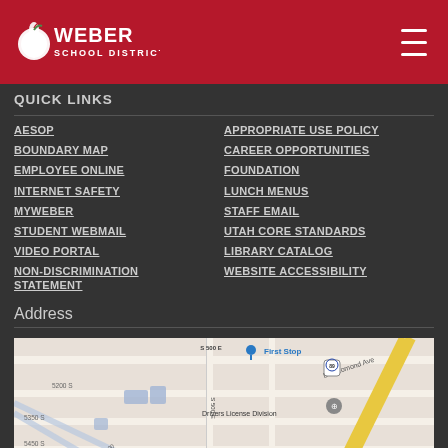Weber School District
QUICK LINKS
AESOP
APPROPRIATE USE POLICY
BOUNDARY MAP
CAREER OPPORTUNITIES
EMPLOYEE ONLINE
FOUNDATION
INTERNET SAFETY
LUNCH MENUS
MYWEBER
STAFF EMAIL
STUDENT WEBMAIL
UTAH CORE STANDARDS
VIDEO PORTAL
LIBRARY CATALOG
NON-DISCRIMINATION STATEMENT
WEBSITE ACCESSIBILITY
Address
[Figure (map): Street map showing area near Weber School District with First Stop, S 500 E, US-89, Ben Lomond Ave, Drivers License Division markers, and street grid including 5200 S, 5350 S, 5450 S, S 300, E 5350 S.]